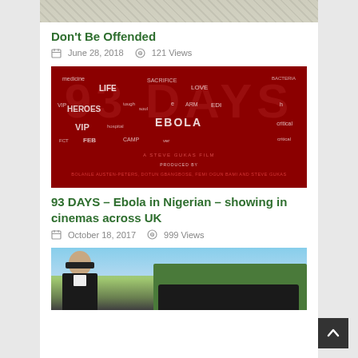[Figure (photo): Top portion of an illustration/drawing, partially visible at top of page]
Don't Be Offended
June 28, 2018   121 Views
[Figure (photo): Movie poster for '93 DAYS' – a Steve Gukas Film about Ebola in Nigeria, on a dark red background with scattered words]
93 DAYS – Ebola in Nigerian – showing in cinemas across UK
October 18, 2017   999 Views
[Figure (photo): Photo of a bald man wearing sunglasses, standing near a black car with hedges in the background]